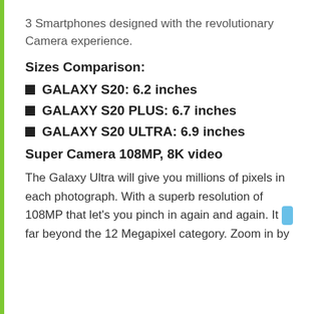3 Smartphones designed with the revolutionary Camera experience.
Sizes Comparison:
GALAXY S20: 6.2 inches
GALAXY S20 PLUS: 6.7 inches
GALAXY S20 ULTRA: 6.9 inches
Super Camera 108MP, 8K video
The Galaxy Ultra will give you millions of pixels in each photograph. With a superb resolution of 108MP that let's you pinch in again and again. It is far beyond the 12 Megapixel category. Zoom in by